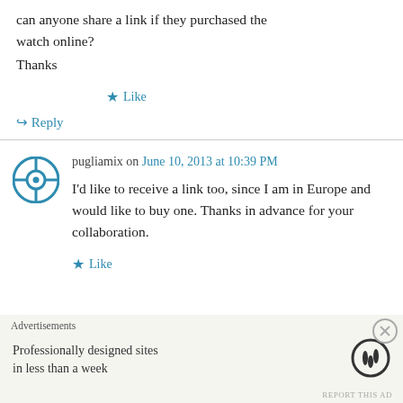can anyone share a link if they purchased the watch online?
Thanks
★ Like
↳ Reply
pugliamix on June 10, 2013 at 10:39 PM
I'd like to receive a link too, since I am in Europe and would like to buy one. Thanks in advance for your collaboration.
★ Like
Advertisements
Professionally designed sites in less than a week